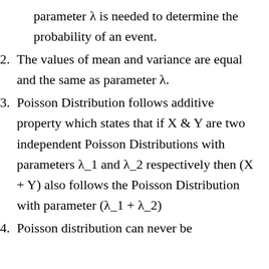parameter λ is needed to determine the probability of an event.
2. The values of mean and variance are equal and the same as parameter λ.
3. Poisson Distribution follows additive property which states that if X & Y are two independent Poisson Distributions with parameters λ_1 and λ_2 respectively then (X + Y) also follows the Poisson Distribution with parameter (λ_1 + λ_2)
4. Poisson distribution can never be